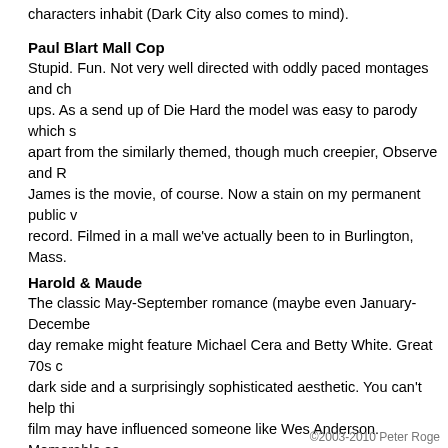characters inhabit (Dark City also comes to mind).
Paul Blart Mall Cop
Stupid. Fun. Not very well directed with oddly paced montages and ch ups. As a send up of Die Hard the model was easy to parody which s apart from the similarly themed, though much creepier, Observe and R James is the movie, of course. Now a stain on my permanent public v record. Filmed in a mall we've actually been to in Burlington, Mass.
Harold & Maude
The classic May-September romance (maybe even January-Decembe day remake might feature Michael Cera and Betty White. Great 70s c dark side and a surprisingly sophisticated aesthetic. You can't help thi film may have influenced someone like Wes Anderson. Memorable so consisting entirely of Cat Stevens songs.
Labels: film, movies
posted by Rowdyman at 12:56 AM   0 comments
©2003-2010 Peter Roge